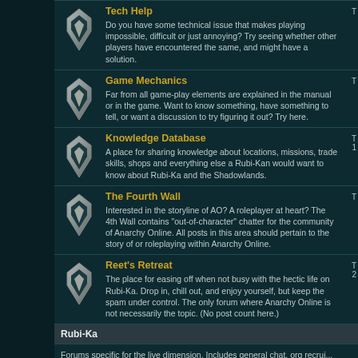Tech Help: Do you have some technical issue that makes playing impossible, difficult or just annoying? Try seeing whether other players have encountered the same, and might have a solution.
Game Mechanics: Far from all game-play elements are explained in the manual or in the game. Want to know something, have something to tell, or want a discussion to try figuring it out? Try here.
Knowledge Database: A place for sharing knowledge about locations, missions, trade skills, shops and everything else a Rubi-Kan would want to know about Rubi-Ka and the Shadowlands.
The Fourth Wall: Interested in the storyline of AO? A roleplayer at heart? The 4th Wall contains "out-of-character" chatter for the community of Anarchy Online. All posts in this area should pertain to the story of or roleplaying within Anarchy Online.
Reet's Retreat: The place for easing off when not busy with the hectic life on Rubi-Ka. Drop in, chill out, and enjoy yourself, but keep the spam under control. The only forum where Anarchy Online is not necessarily the topic. (No post count here.)
Rubi-Ka
Forums specific for the live dimension. Includes general chat, org recrui...